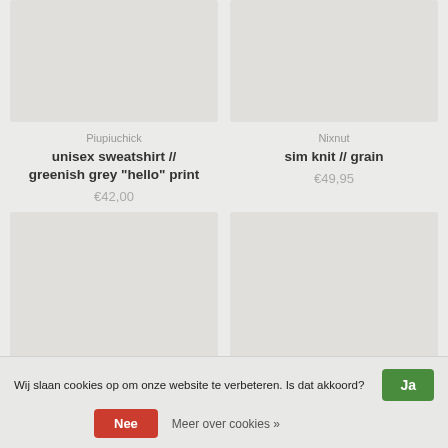[Figure (photo): Product image placeholder top-left (grey rectangle)]
Piupiuchick
unisex sweatshirt // greenish grey "hello" print
€42,00
[Figure (photo): Product image placeholder top-right (grey rectangle)]
Nixnut
sim knit // grain
€49,95
[Figure (photo): Product image placeholder bottom-left (grey rectangle)]
[Figure (photo): Product image placeholder bottom-right (grey rectangle)]
Wij slaan cookies op om onze website te verbeteren. Is dat akkoord? Ja
Nee  Meer over cookies »